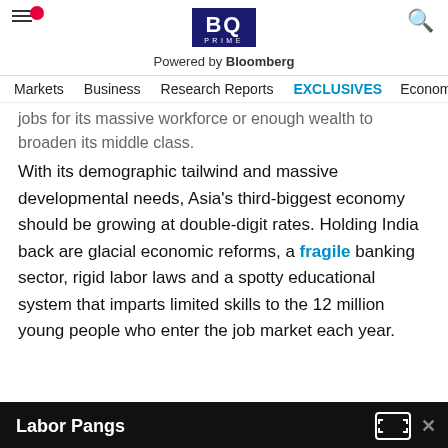BQ PRIME — Powered by Bloomberg
Markets  Business  Research Reports  EXCLUSIVES  Economy
jobs for its massive workforce or enough wealth to broaden its middle class.
With its demographic tailwind and massive developmental needs, Asia's third-biggest economy should be growing at double-digit rates. Holding India back are glacial economic reforms, a fragile banking sector, rigid labor laws and a spotty educational system that imparts limited skills to the 12 million young people who enter the job market each year.
Labor Pangs